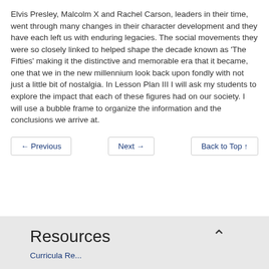Elvis Presley, Malcolm X and Rachel Carson, leaders in their time, went through many changes in their character development and they have each left us with enduring legacies. The social movements they were so closely linked to helped shape the decade known as 'The Fifties' making it the distinctive and memorable era that it became, one that we in the new millennium look back upon fondly with not just a little bit of nostalgia. In Lesson Plan III I will ask my students to explore the impact that each of these figures had on our society. I will use a bubble frame to organize the information and the conclusions we arrive at.
← Previous   Next →   Back to Top ↑
Resources